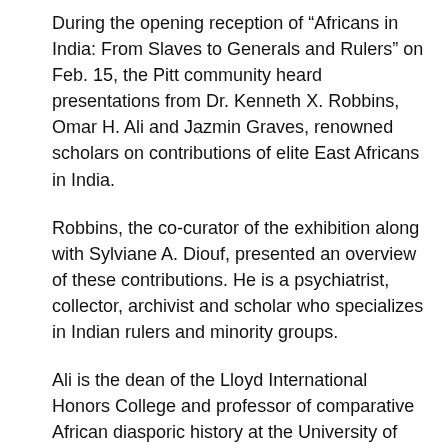During the opening reception of “Africans in India: From Slaves to Generals and Rulers” on Feb. 15, the Pitt community heard presentations from Dr. Kenneth X. Robbins, Omar H. Ali and Jazmin Graves, renowned scholars on contributions of elite East Africans in India.
Robbins, the co-curator of the exhibition along with Sylviane A. Diouf, presented an overview of these contributions. He is a psychiatrist, collector, archivist and scholar who specializes in Indian rulers and minority groups.
Ali is the dean of the Lloyd International Honors College and professor of comparative African diasporic history at the University of North Carolina, Greensboro. He’s also the author of “Malik Ambar: Power and Slavery Across the Indian Ocean” (2016, Oxford University Press). Ambar is one of the African rulers featured in the exhibit.
And finally, Jasmine Graves, is a Ph.D. candidate in the department of Asian Languages and Civilizations at the University of Chicago and fellow at the American Institute